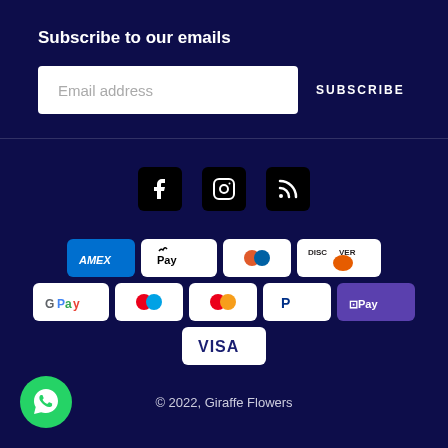Subscribe to our emails
Email address
SUBSCRIBE
[Figure (infographic): Social media icons: Facebook, Instagram, RSS feed]
[Figure (infographic): Payment method badges: American Express, Apple Pay, Diners Club, Discover, Google Pay, Maestro, Mastercard, PayPal, Shop Pay, Visa]
© 2022, Giraffe Flowers